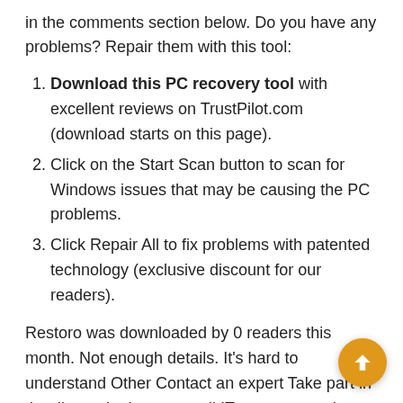in the comments section below. Do you have any problems? Repair them with this tool:
Download this PC recovery tool with excellent reviews on TrustPilot.com (download starts on this page).
Click on the Start Scan button to scan for Windows issues that may be causing the PC problems.
Click Repair All to fix problems with patented technology (exclusive discount for our readers).
Restoro was downloaded by 0 readers this month. Not enough details. It's hard to understand Other Contact an expert Take part in the discussionI run a small IT company and we recently had a customer who was having an issue with their Nvidia graphics card that was not being detected by Windows 10. We spent around 2 hours trying to resolve this issue and I thought it would be helpful to my readers if I shared